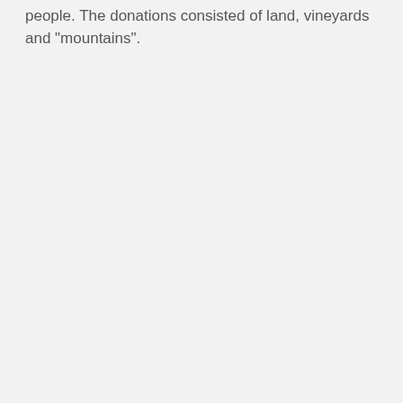people. The donations consisted of land, vineyards and "mountains".